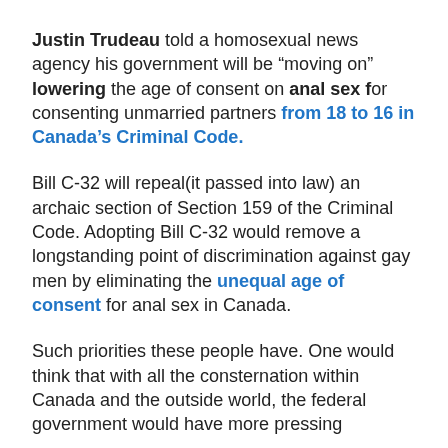Justin Trudeau told a homosexual news agency his government will be “moving on” lowering the age of consent on anal sex for consenting unmarried partners from 18 to 16 in Canada’s Criminal Code.
Bill C-32 will repeal(it passed into law) an archaic section of Section 159 of the Criminal Code. Adopting Bill C-32 would remove a longstanding point of discrimination against gay men by eliminating the unequal age of consent for anal sex in Canada.
Such priorities these people have. One would think that with all the consternation within Canada and the outside world, the federal government would have more pressing